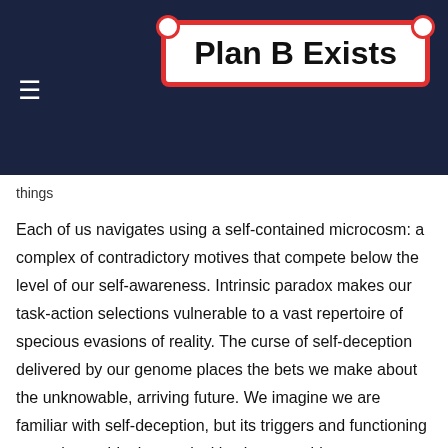Plan B Exists
things
Each of us navigates using a self-contained microcosm: a complex of contradictory motives that compete below the level of our self-awareness. Intrinsic paradox makes our task-action selections vulnerable to a vast repertoire of specious evasions of reality. The curse of self-deception delivered by our genome places the bets we make about the unknowable, arriving future. We imagine we are familiar with self-deception, but its triggers and functioning are unknowable, its perplexities innumerable.
In the beginning was deception. Take the distinguishing criteria of deception into the Garden of Eden and log… conclude that the only one telling the truth in the temptation story, God included, was the serpent. Your subconscious…